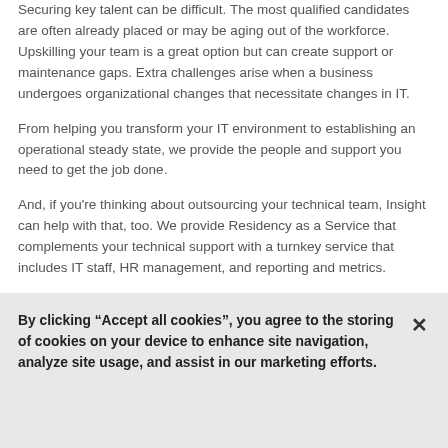Securing key talent can be difficult. The most qualified candidates are often already placed or may be aging out of the workforce. Upskilling your team is a great option but can create support or maintenance gaps. Extra challenges arise when a business undergoes organizational changes that necessitate changes in IT.
From helping you transform your IT environment to establishing an operational steady state, we provide the people and support you need to get the job done.
And, if you're thinking about outsourcing your technical team, Insight can help with that, too. We provide Residency as a Service that complements your technical support with a turnkey service that includes IT staff, HR management, and reporting and metrics.
By clicking “Accept all cookies”, you agree to the storing of cookies on your device to enhance site navigation, analyze site usage, and assist in our marketing efforts.